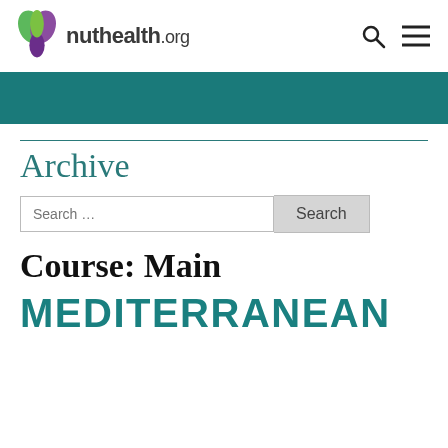[Figure (logo): nuthealth.org logo with green and purple leaf icon]
[Figure (other): Teal/dark cyan header banner bar]
Archive
Search …
Course: Main
MEDITERRANEAN